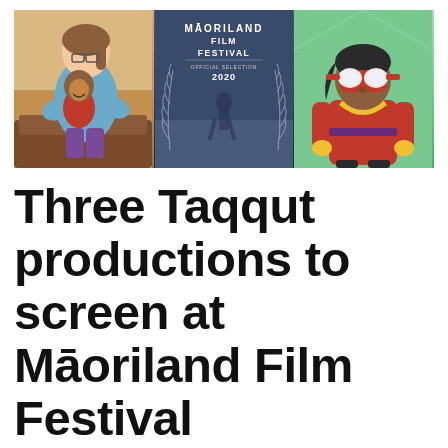[Figure (illustration): Three-panel horizontal image strip showing three animated/illustrated scenes. Left panel: animated cartoon of two people hugging — an adult with glasses and a child, warm tones. Center panel: Māoriland Film Festival Official Selection 2020 poster with dark blue background and silver fern motifs, showing a figure walking in a snowy landscape. Right panel: animated cartoon of a superhero character in red outfit with yellow scarf/bandana and goggles, green background.]
Three Taqqut productions to screen at Māoriland Film Festival